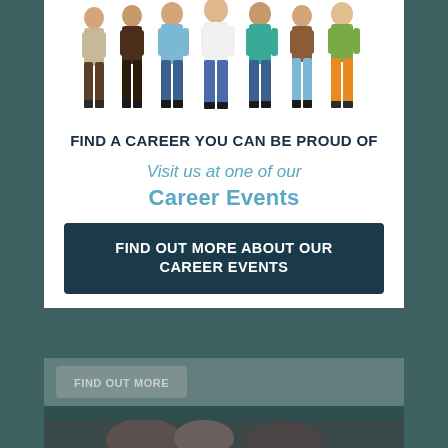[Figure (illustration): Group of illustrated people standing together — diverse figures in casual clothing]
FIND A CAREER YOU CAN BE PROUD OF
Visit us at one of our Career Events
FIND OUT MORE ABOUT OUR CAREER EVENTS
FIND OUT MORE
[Figure (photo): Partial view of a photo, appears to show people, dark/muted tones]